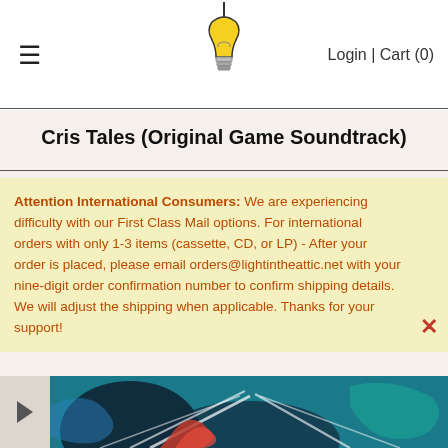≡   [logo]   Login | Cart (0)
Cris Tales (Original Game Soundtrack)
Attention International Consumers: We are experiencing difficulty with our First Class Mail options. For international orders with only 1-3 items (cassette, CD, or LP) - After your order is placed, please email orders@lightintheattic.net with your nine-digit order confirmation number to confirm shipping details. We will adjust the shipping when applicable. Thanks for your support!
[Figure (illustration): Cris Tales game artwork showing anime-style character with teal/blue and red design elements, dramatic rays of light]